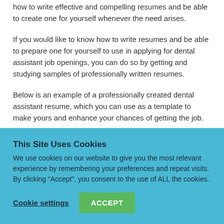how to write effective and compelling resumes and be able to create one for yourself whenever the need arises.
If you would like to know how to write resumes and be able to prepare one for yourself to use in applying for dental assistant job openings, you can do so by getting and studying samples of professionally written resumes.
Below is an example of a professionally created dental assistant resume, which you can use as a template to make yours and enhance your chances of getting the job.
This Site Uses Cookies
We use cookies on our website to give you the most relevant experience by remembering your preferences and repeat visits. By clicking “Accept”, you consent to the use of ALL the cookies.